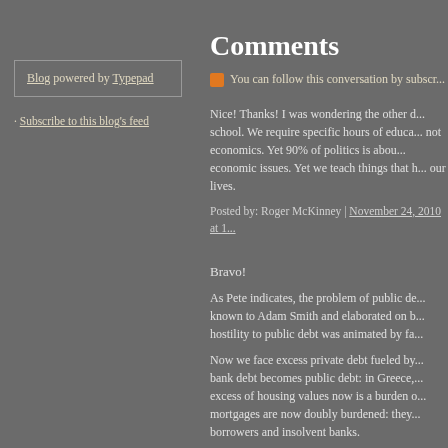Blog powered by Typepad
Subscribe to this blog's feed
Comments
You can follow this conversation by subscr...
Nice! Thanks! I was wondering the other day about high school. We require specific hours of education in things, not economics. Yet 90% of politics is about economic issues. Yet we teach things that barely affect our lives.
Posted by: Roger McKinney | November 24, 2010 at 1...
Bravo!
As Pete indicates, the problem of public de... known to Adam Smith and elaborated on b... hostility to public debt was animated by fa...
Now we face excess private debt fueled by... bank debt becomes public debt: in Greece,... excess of housing values now is a burden... mortgages are now doubly burdened: they... borrowers and insolvent banks.
Posted by: Jerry O'Driscoll | November 24, 2010 at 10...